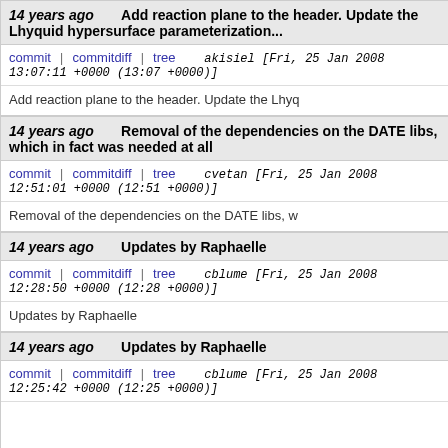14 years ago — Add reaction plane to the header. Update the Lhyquid hypersurface parameterization...
commit | commitdiff | tree   akisiel [Fri, 25 Jan 2008 13:07:11 +0000 (13:07 +0000)]
Add reaction plane to the header. Update the Lhyq...
14 years ago — Removal of the dependencies on the DATE libs, which in fact was needed at all
commit | commitdiff | tree   cvetan [Fri, 25 Jan 2008 12:51:01 +0000 (12:51 +0000)]
Removal of the dependencies on the DATE libs, w...
14 years ago — Updates by Raphaelle
commit | commitdiff | tree   cblume [Fri, 25 Jan 2008 12:28:50 +0000 (12:28 +0000)]
Updates by Raphaelle
14 years ago — Updates by Raphaelle
commit | commitdiff | tree   cblume [Fri, 25 Jan 2008 12:25:42 +0000 (12:25 +0000)]